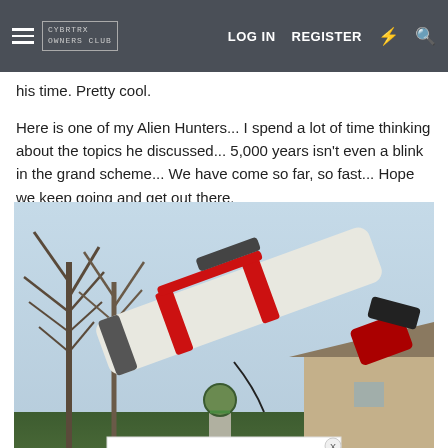CYBRTRX OWNERS CLUB — LOG IN  REGISTER
his time. Pretty cool.
Here is one of my Alien Hunters... I spend a lot of time thinking about the topics he discussed... 5,000 years isn't even a blink in the grand scheme... We have come so far, so fast... Hope we keep going and get out there.
[Figure (photo): Photograph of a white refractor telescope with red mounting rings on an equatorial mount, outdoors against a light blue sky with bare trees in the background and a house on the right. An advertisement overlay appears at the bottom of the image.]